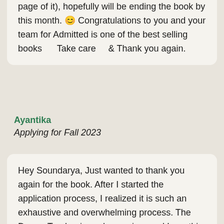page of it), hopefully will be ending the book by this month. 😊 Congratulations to you and your team for Admitted is one of the best selling books    Take care    & Thank you again.
Ayantika
Applying for Fall 2023
Hey Soundarya, Just wanted to thank you again for the book. After I started the application process, I realized it is such an exhaustive and overwhelming process. The Dream Tracker is such a saviour and I say this without any exaggeration. And the chapter on loans and financial aid. Can't thank you enough for the effort you put in to make our lives easier. I have recommended this book to all my juniors who intend to pursue Masters abroad and I am confident they will derive the same value and enjoyment from